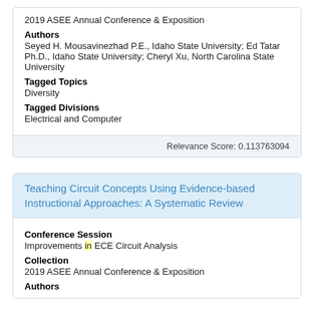2019 ASEE Annual Conference & Exposition
Authors
Seyed H. Mousavinezhad P.E., Idaho State University; Ed Tatar Ph.D., Idaho State University; Cheryl Xu, North Carolina State University
Tagged Topics
Diversity
Tagged Divisions
Electrical and Computer
Relevance Score: 0.113763094
Teaching Circuit Concepts Using Evidence-based Instructional Approaches: A Systematic Review
Conference Session
Improvements in ECE Circuit Analysis
Collection
2019 ASEE Annual Conference & Exposition
Authors